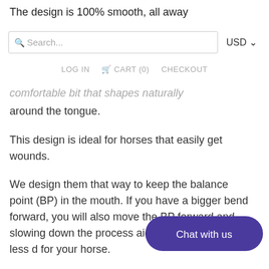The design is 100% smooth, all away
[Figure (screenshot): Search bar with placeholder text 'Search...' and USD currency dropdown]
LOG IN   CART (0)   CHECKOUT
comfortable bit that shapes naturally around the tongue.
This design is ideal for horses that easily get wounds.
We design them that way to keep the balance point (BP) in the mouth. If you have a bigger bend forward, you will also move the BP forward and slowing down the process aids. More stable and less d for your horse.
[Figure (screenshot): Chat with us button (purple pill shape)]